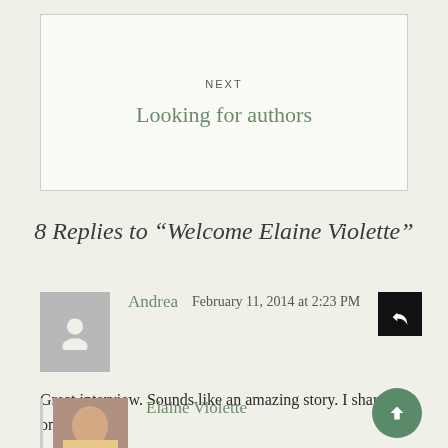NEXT
Looking for authors
8 Replies to “Welcome Elaine Violette”
Andrea   February 11, 2014 at 2:23 PM
Great interview. Sounds like an amazing story. I shared on Pinterest.
Elaine Violette